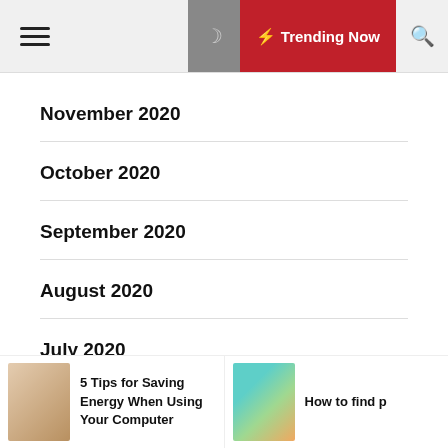Hamburger menu | Moon icon | Trending Now | Search icon
November 2020
October 2020
September 2020
August 2020
July 2020
June 2020
5 Tips for Saving Energy When Using Your Computer
How to find p